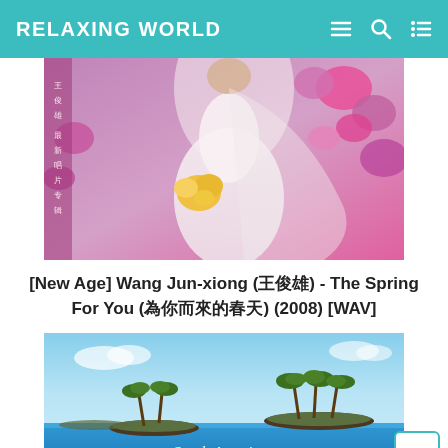RELAXING WORLD
[Figure (photo): Album cover showing a bride in white wedding dress holding yellow flowers, surrounded by pink and magenta blooms, with Chinese text on the left side]
[New Age] Wang Jun-xiong (王俊雄) - The Spring For You (為你而來的春天) (2008) [WAV]
[Figure (photo): Album cover showing a tropical island scene with palm trees, blue ocean water, and text reading 'South American' at the bottom]